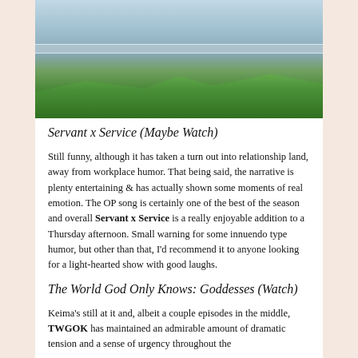[Figure (photo): Rooftop view showing a city skyline in the background, a railing, and green hedges/bushes in a triangular garden shape in the foreground.]
Servant x Service (Maybe Watch)
Still funny, although it has taken a turn out into relationship land, away from workplace humor. That being said, the narrative is plenty entertaining & has actually shown some moments of real emotion. The OP song is certainly one of the best of the season and overall Servant x Service is a really enjoyable addition to a Thursday afternoon. Small warning for some innuendo type humor, but other than that, I'd recommend it to anyone looking for a light-hearted show with good laughs.
The World God Only Knows: Goddesses (Watch)
Keima's still at it and, albeit a couple episodes in the middle, TWGOK has maintained an admirable amount of dramatic tension and a sense of urgency throughout the